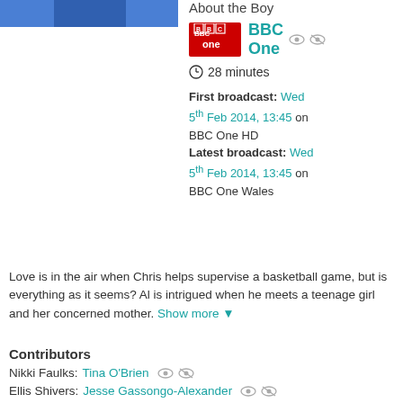[Figure (photo): Partial photo of a person in blue clothing, cropped at top]
About the Boy
[Figure (logo): BBC One red logo]
BBC One
28 minutes
First broadcast: Wed 5th Feb 2014, 13:45 on BBC One HD
Latest broadcast: Wed 5th Feb 2014, 13:45 on BBC One Wales
Love is in the air when Chris helps supervise a basketball game, but is everything as it seems? Al is intrigued when he meets a teenage girl and her concerned mother. Show more
Contributors
Nikki Faulks: Tina O'Brien
Ellis Shivers: Jesse Gassongo-Alexander